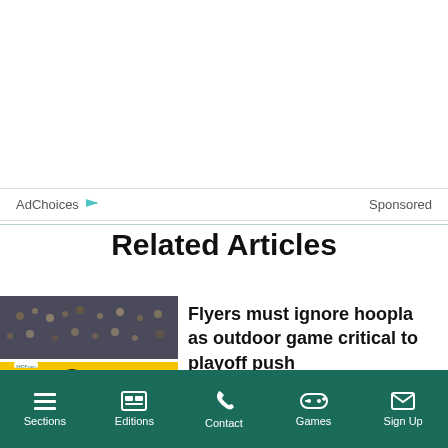AdChoices ▷   Sponsored
Related Articles
[Figure (photo): Hockey players on ice rink during a game, players in black and orange Flyers uniforms]
Flyers must ignore hoopla as outdoor game critical to playoff push
Sections  Editions  Contact  Games  Sign Up